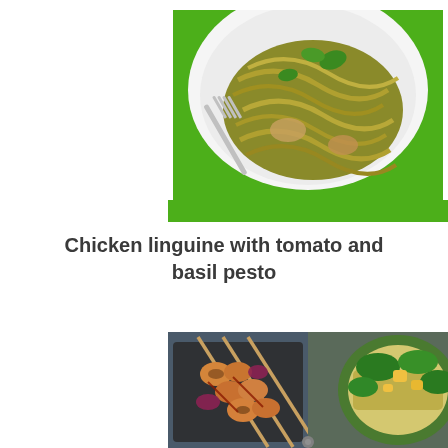[Figure (photo): A white bowl on a green plate filled with chicken linguine pasta tossed in green basil pesto, garnished with fresh basil leaves, with a fork resting in the bowl.]
Chicken linguine with tomato and basil pesto
[Figure (photo): Two food photos side by side: on the left, grilled chicken skewers with red onion in a dark roasting pan; on the right, a green plate with a grain salad topped with mango and greens.]